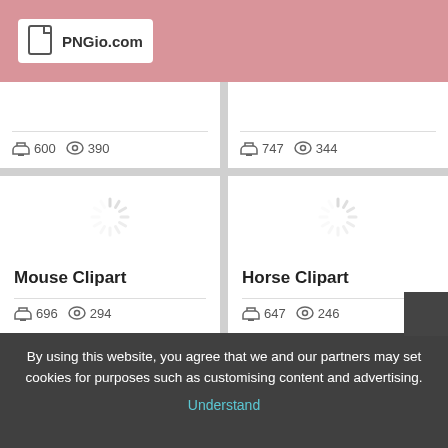PNGio.com
600  390
747  344
[Figure (screenshot): Loading spinner placeholder for Mouse Clipart image]
Mouse Clipart
696  294
[Figure (screenshot): Loading spinner placeholder for Horse Clipart image]
Horse Clipart
647  246
By using this website, you agree that we and our partners may set cookies for purposes such as customising content and advertising.  Understand